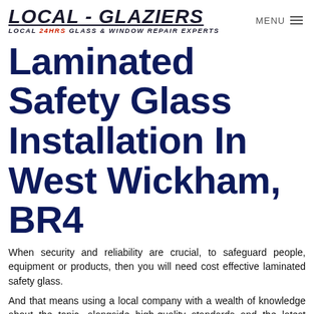LOCAL - GLAZIERS | LOCAL 24HRS GLASS & WINDOW REPAIR EXPERTS | MENU
Laminated Safety Glass Installation In West Wickham, BR4
When security and reliability are crucial, to safeguard people, equipment or products, then you will need cost effective laminated safety glass.
And that means using a local company with a wealth of knowledge about the topic, alongside high-quality standards and the latest technology and techniques ? Glaziers West Wickham.
Laminated safety glass, quick and reliable